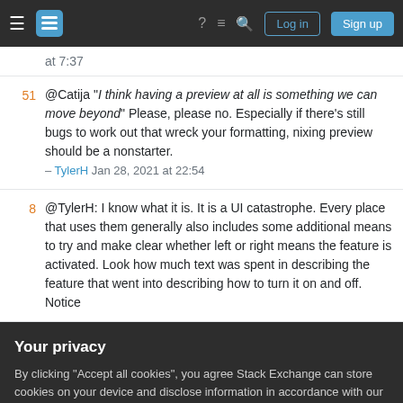Stack Exchange navigation bar with hamburger menu, logo, help icon, chat icon, search icon, Log in and Sign up buttons
at 7:37
@Catija "I think having a preview at all is something we can move beyond" Please, please no. Especially if there's still bugs to work out that wreck your formatting, nixing preview should be a nonstarter. – TylerH Jan 28, 2021 at 22:54
@TylerH: I know what it is. It is a UI catastrophe. Every place that uses them generally also includes some additional means to try and make clear whether left or right means the feature is activated. Look how much text was spent in describing the feature that went into describing how to turn it on and off. Notice
Your privacy
By clicking "Accept all cookies", you agree Stack Exchange can store cookies on your device and disclose information in accordance with our Cookie Policy.
Accept all cookies
Customize settings
The whole point of this is to try to get these things